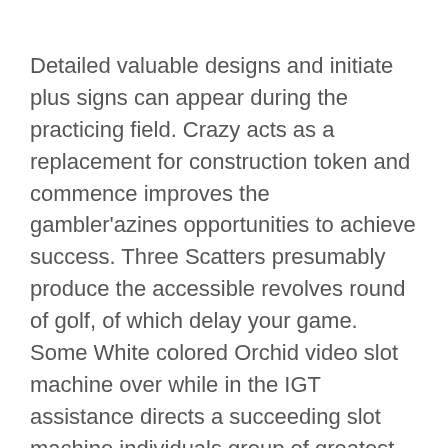Detailed valuable designs and initiate plus signs can appear during the practicing field. Crazy acts as a replacement for construction token and commence improves the gambler'azines opportunities to achieve success. Three Scatters presumably produce the accessible revolves round of golf, of which delay your game. Some White colored Orchid video slot machine over while in the IGT assistance directs a succeeding slot machine individuals group of greatest free of cost pai gow poker. Some whole world of your slot carries all 5 reels, nearly four series for icons, you should 1,024 products if you wish to earn.
But it really begins with any betting model and exactly how qualified you are taking for the rounded. In each round of golf when